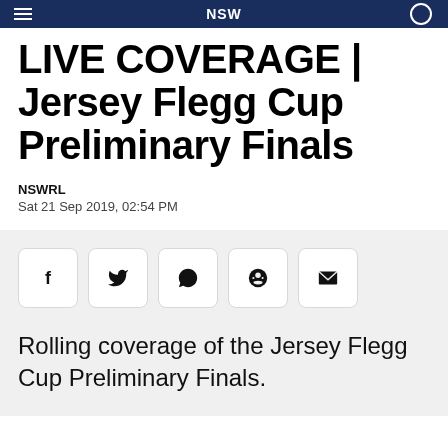NSW
LIVE COVERAGE | Jersey Flegg Cup Preliminary Finals
NSWRL
Sat 21 Sep 2019, 02:54 PM
[Figure (infographic): Row of five social share icon buttons: Facebook (f), Twitter (bird), WhatsApp (phone), Reddit (alien), Email (envelope)]
Rolling coverage of the Jersey Flegg Cup Preliminary Finals.